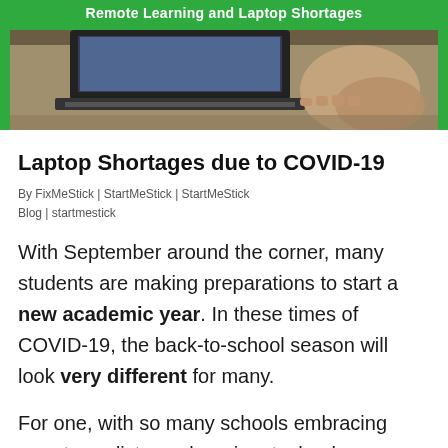[Figure (photo): Green banner header with white text 'Remote Learning and Laptop Shortages' over a photo of a person using a laptop]
Laptop Shortages due to COVID-19
By FixMeStick | StartMeStick | StartMeStick Blog | startmestick
With September around the corner, many students are making preparations to start a new academic year. In these times of COVID-19, the back-to-school season will look very different for many.
For one, with so many schools embracing remote or distance learning, technology